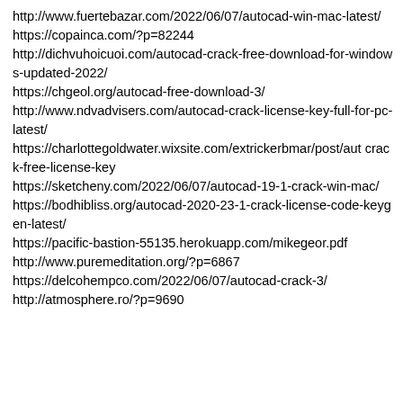http://www.fuertebazar.com/2022/06/07/autocad-win-mac-latest/
https://copainca.com/?p=82244
http://dichvuhoicuoi.com/autocad-crack-free-download-for-windows-updated-2022/
https://chgeol.org/autocad-free-download-3/
http://www.ndvadvisers.com/autocad-crack-license-key-full-for-pc-latest/
https://charlottegoldwater.wixsite.com/extrickerbmar/post/aut crack-free-license-key
https://sketcheny.com/2022/06/07/autocad-19-1-crack-win-mac/
https://bodhibliss.org/autocad-2020-23-1-crack-license-code-keygen-latest/
https://pacific-bastion-55135.herokuapp.com/mikegeor.pdf
http://www.puremeditation.org/?p=6867
https://delcohempco.com/2022/06/07/autocad-crack-3/
http://atmosphere.ro/?p=9690